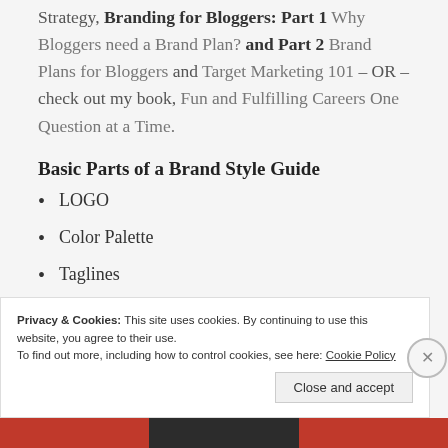Strategy, Branding for Bloggers: Part 1 Why Bloggers need a Brand Plan? and Part 2 Brand Plans for Bloggers and Target Marketing 101 – OR – check out my book, Fun and Fulfilling Careers One Question at a Time.
Basic Parts of a Brand Style Guide
LOGO
Color Palette
Taglines
Image
Privacy & Cookies: This site uses cookies. By continuing to use this website, you agree to their use.
To find out more, including how to control cookies, see here: Cookie Policy
Close and accept